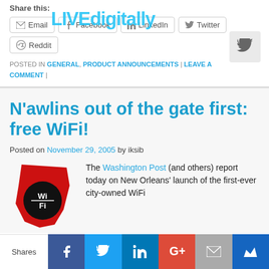Share this:
Email | Facebook | LinkedIn | Twitter | Reddit
[Figure (logo): LIVEdigitally watermark overlay in cyan/light-blue text]
POSTED IN GENERAL, PRODUCT ANNOUNCEMENTS | LEAVE A COMMENT |
N'awlins out of the gate first: free WiFi!
Posted on November 29, 2005 by iksib
[Figure (logo): Louisiana state silhouette in red with WiFi logo badge in black and white]
The Washington Post (and others) report today on New Orleans' launch of the first-ever city-owned WiFi
Shares